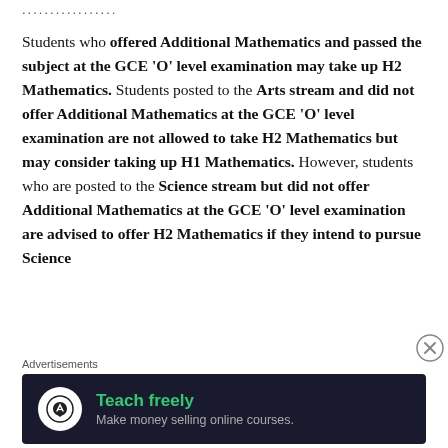...............
Students who offered Additional Mathematics and passed the subject at the GCE ‘O’ level examination may take up H2 Mathematics. Students posted to the Arts stream and did not offer Additional Mathematics at the GCE ‘O’ level examination are not allowed to take H2 Mathematics but may consider taking up H1 Mathematics. However, students who are posted to the Science stream but did not offer Additional Mathematics at the GCE ‘O’ level examination are advised to offer H2 Mathematics if they intend to pursue Science
Advertisements
[Figure (other): Advertisement banner: Teach freely - Make money selling online courses. Dark background with green text and a white circular icon.]